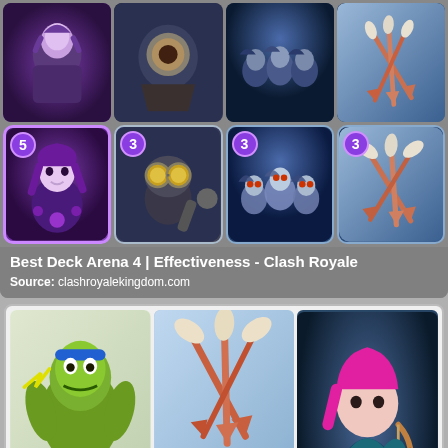[Figure (screenshot): Clash Royale card deck grid showing 8 cards: top row 4 cards (various characters), bottom row 4 cards including a Witch (cost 5), Mega Minion (cost 3), Minion Horde (cost 3), Arrows (cost 3)]
Best Deck Arena 4 | Effectiveness - Clash Royale
Source: clashroyalekingdom.com
[Figure (screenshot): Clash Royale card images grid: Goblin, Arrows, Archer Queen (top row), Fireball, Witch, and partial cards (bottom rows)]